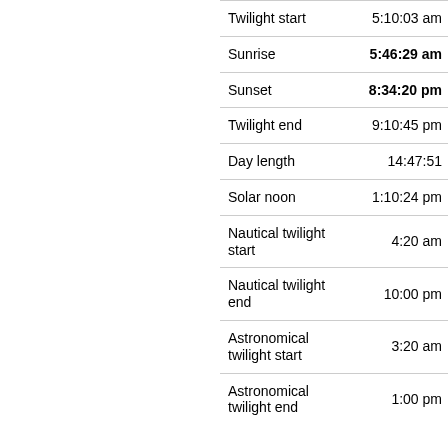| Event | Time |
| --- | --- |
| Twilight start | 5:10:03 am |
| Sunrise | 5:46:29 am |
| Sunset | 8:34:20 pm |
| Twilight end | 9:10:45 pm |
| Day length | 14:47:51 |
| Solar noon | 1:10:24 pm |
| Nautical twilight start | 4:20 am |
| Nautical twilight end | 10:00 pm |
| Astronomical twilight start | 3:20 am |
| Astronomical twilight end | 1:00 pm |